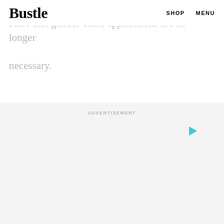Bustle  SHOP  MENU
...ch-based sexist assumptions on a wide-enough scale that gender-blind applications are no longer necessary.
[Figure (other): Advertisement placeholder area with a small cyan/teal play button triangle icon in the upper right of the ad region, and the label ADVERTISEMENT centered at the top.]